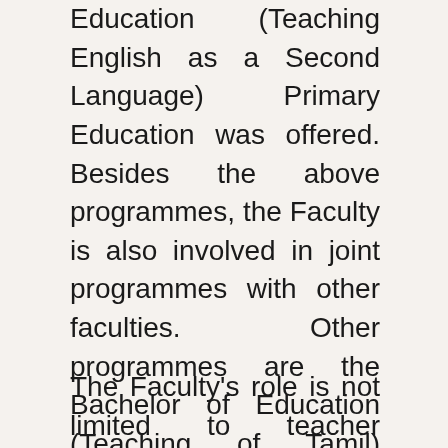Education (Teaching English as a Second Language) Primary Education was offered. Besides the above programmes, the Faculty is also involved in joint programmes with other faculties. Other programmes are the Bachelor of Education (Teaching of Tamil) conducted jointly with the Faculty of Arts and Social Sciences and the Bachelor of Language and Linguistics with Education (Chinese) conducted jointly with the Faculty of Languages and Linguistics.
The Faculty's role is not limited to teacher education. Each Faculty member has his/her own area of